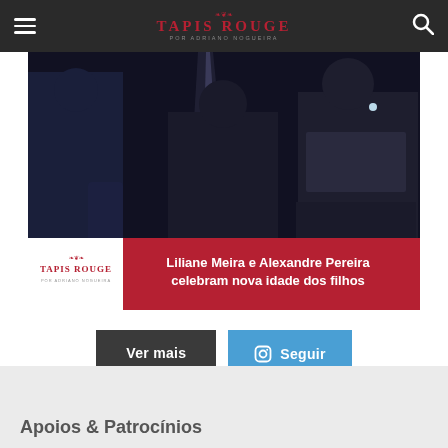TAPIS ROUGE — POR ADRIANO NOGUEIRA
[Figure (photo): Dark event photo showing three people in black outfits with dramatic lighting, with Tapis Rouge logo overlay and red banner reading 'Liliane Meira e Alexandre Pereira celebram nova idade dos filhos']
Ver mais
Seguir
Apoios & Patrocínios